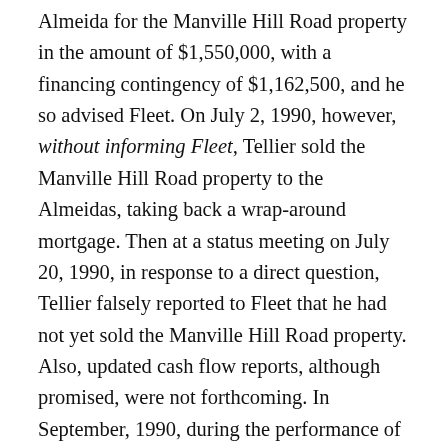Almeida for the Manville Hill Road property in the amount of $1,550,000, with a financing contingency of $1,162,500, and he so advised Fleet. On July 2, 1990, however, without informing Fleet, Tellier sold the Manville Hill Road property to the Almeidas, taking back a wrap-around mortgage. Then at a status meeting on July 20, 1990, in response to a direct question, Tellier falsely reported to Fleet that he had not yet sold the Manville Hill Road property. Also, updated cash flow reports, although promised, were not forthcoming. In September, 1990, during the performance of a routine title search, Fleet discovered that Tellier had sold the Manville Hill Road property to the Almeidas. When confronted about this, Tellier essentially told Ann Gallagher that this transfer was really of no concern to her, and that as long as Fleet was receiving current